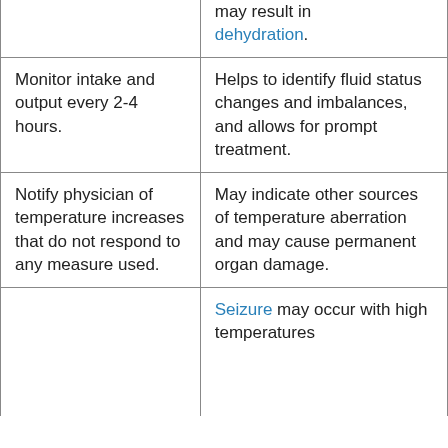|  | may result in dehydration. |
| Monitor intake and output every 2-4 hours. | Helps to identify fluid status changes and imbalances, and allows for prompt treatment. |
| Notify physician of temperature increases that do not respond to any measure used. | May indicate other sources of temperature aberration and may cause permanent organ damage. |
|  | Seizure may occur with high temperatures |